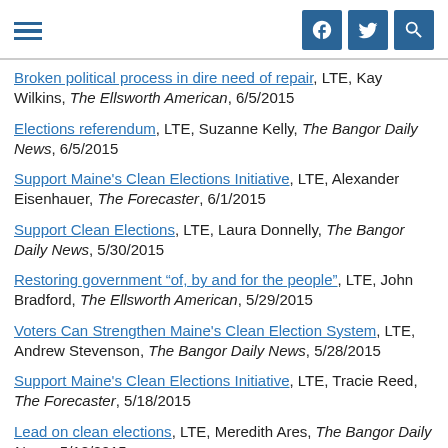Navigation header with hamburger menu and social icons (Facebook, Twitter, Search)
Broken political process in dire need of repair, LTE, Kay Wilkins, The Ellsworth American, 6/5/2015
Elections referendum, LTE, Suzanne Kelly, The Bangor Daily News, 6/5/2015
Support Maine's Clean Elections Initiative, LTE, Alexander Eisenhauer, The Forecaster, 6/1/2015
Support Clean Elections, LTE, Laura Donnelly, The Bangor Daily News, 5/30/2015
Restoring government "of, by and for the people", LTE, John Bradford, The Ellsworth American, 5/29/2015
Voters Can Strengthen Maine's Clean Election System, LTE, Andrew Stevenson, The Bangor Daily News, 5/28/2015
Support Maine's Clean Elections Initiative, LTE, Tracie Reed, The Forecaster, 5/18/2015
Lead on clean elections, LTE, Meredith Ares, The Bangor Daily News, 5/18/2015